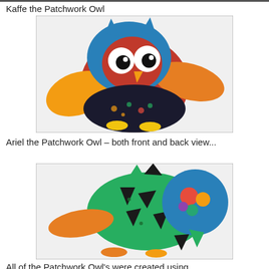Kaffe the Patchwork Owl
[Figure (photo): Photo of a colorful patchwork owl stuffed toy named Kaffe, made with blue, red, orange, yellow, and dark patterned fabric, with large white eyes and an orange beak.]
Ariel the Patchwork Owl – both front and back view...
[Figure (photo): Photo of a colorful patchwork owl stuffed toy named Ariel shown from the back, with green patterned, black, blue, orange, and multi-colored fabric patches.]
All of the Patchwork Owl's were created using